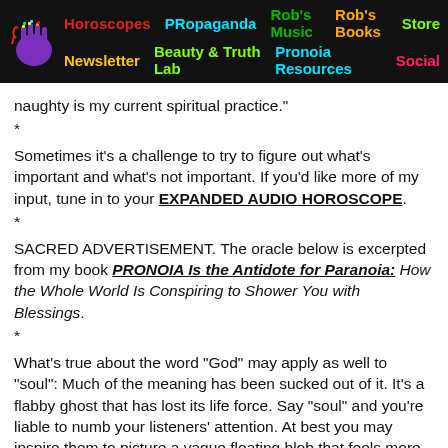Horoscopes | PRopaganda | Rob's Music | Rob's Books | Store | Newsletter | Beauty & Truth Lab | Pronoia Resources | Social
naughty is my current spiritual practice."
*
Sometimes it's a challenge to try to figure out what's important and what's not important. If you'd like more of my input, tune in to your EXPANDED AUDIO HOROSCOPE.
*
SACRED ADVERTISEMENT. The oracle below is excerpted from my book PRONOIA Is the Antidote for Paranoia: How the Whole World Is Conspiring to Shower You with Blessings.
*
What's true about the word "God" may apply as well to "soul": Much of the meaning has been sucked out of it. It's a flabby ghost that has lost its life force. Say "soul" and you're liable to numb your listeners' attention. At best you may inspire them to picture a vague floating blob that feels more